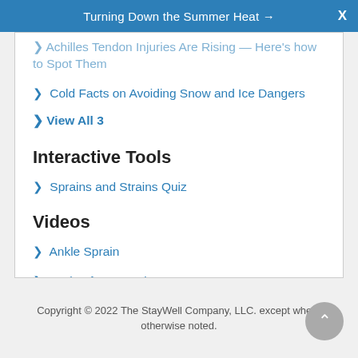Turning Down the Summer Heat →  X
> Achilles Tendon Injuries Are Rising — Here's how to Spot Them
> Cold Facts on Avoiding Snow and Ice Dangers
> View All 3
Interactive Tools
> Sprains and Strains Quiz
Videos
> Ankle Sprain
> Caring for a Sprain
Copyright © 2022 The StayWell Company, LLC. except where otherwise noted.